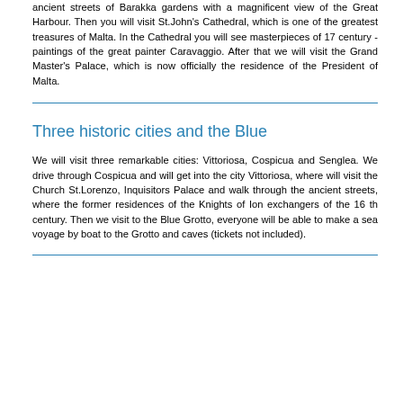ancient streets of Barakka gardens with a magnificent view of the Great Harbour. Then you will visit St.John's Cathedral, which is one of the greatest treasures of Malta. In the Cathedral you will see masterpieces of 17 century - paintings of the great painter Caravaggio. After that we will visit the Grand Master's Palace, which is now officially the residence of the President of Malta.
Three historic cities and the Blue
We will visit three remarkable cities: Vittoriosa, Cospicua and Senglea. We drive through Cospicua and will get into the city Vittoriosa, where will visit the Church St.Lorenzo, Inquisitors Palace and walk through the ancient streets, where the former residences of the Knights of Ion exchangers of the 16 th century. Then we visit to the Blue Grotto, everyone will be able to make a sea voyage by boat to the Grotto and caves (tickets not included).